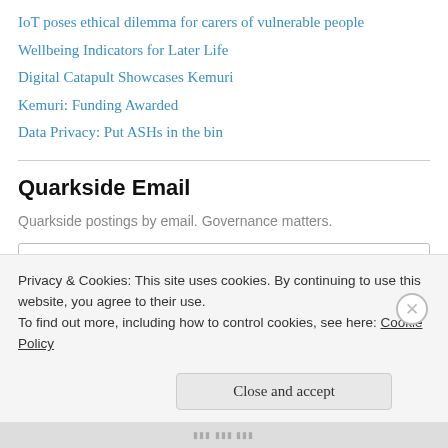IoT poses ethical dilemma for carers of vulnerable people
Wellbeing Indicators for Later Life
Digital Catapult Showcases Kemuri
Kemuri: Funding Awarded
Data Privacy: Put ASHs in the bin
Quarkside Email
Quarkside postings by email. Governance matters.
Enter your email address
Privacy & Cookies: This site uses cookies. By continuing to use this website, you agree to their use.
To find out more, including how to control cookies, see here: Cookie Policy
Close and accept